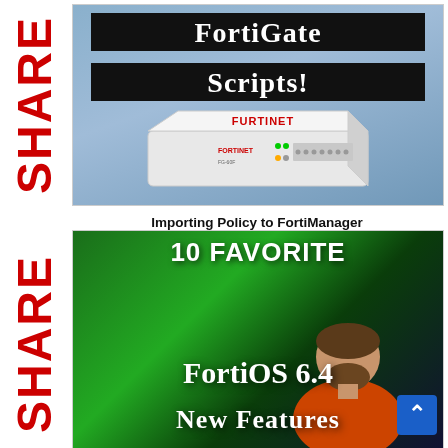[Figure (screenshot): YouTube thumbnail for FortiGate Scripts video showing a Fortinet network appliance on a blue-grey background with black title boxes reading FortiGate Scripts!]
Importing Policy to FortiManager
[Figure (screenshot): YouTube thumbnail for 10 Favorite FortiOS 6.4 New Features video showing a man in an orange shirt against a green-lit server room background with large white text overlay]
SHARE
SHARE